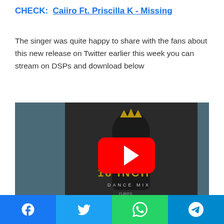CHECK:  Caiiro Ft. Priscilla K - Missing
The singer was quite happy to share with the fans about this new release on Twitter earlier this week you can stream on DSPs and download below
[Figure (screenshot): YouTube video embed thumbnail showing a music album cover for '18 Inch Dance Mix' with a dark portrait of a man wearing a crown, and a YouTube play button overlay in the center]
Facebook | Twitter | WhatsApp | Telegram (social share buttons)